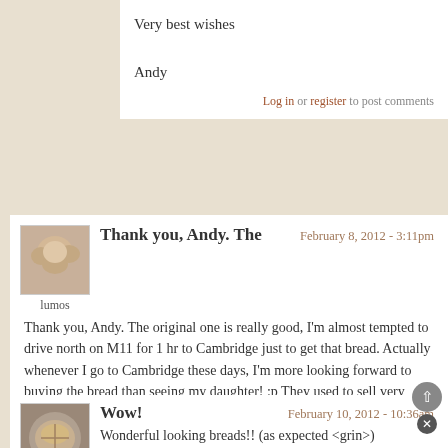Very best wishes

Andy
Log in or register to post comments
[Figure (photo): Avatar image for user 'lumos', showing bread/dumplings]
Thank you, Andy.  The
February 8, 2012 - 3:11pm
Thank you, Andy.  The original one is really good, I'm almost tempted  to drive north on M11 for 1 hr to Cambridge just to get that bread.  Actually whenever I go to Cambridge these days, I'm more looking forward to buying the bread than seeing my daughter!  :p  They used to sell very authentic Campaillou, too, which is my all time favourite, but they seem to have changed the recipe a few years ago for some reason and it's not that good any more.  But now I discovered L'Ancienne instead.  (...or rather, Daisy discovered it when we met for the first time in Cambridge)
Log in or register to post comments
[Figure (photo): Avatar image for user 'Salilah', showing bread]
Wow!
February 10, 2012 - 10:36am
Wonderful looking breads!! (as expected <grin>)